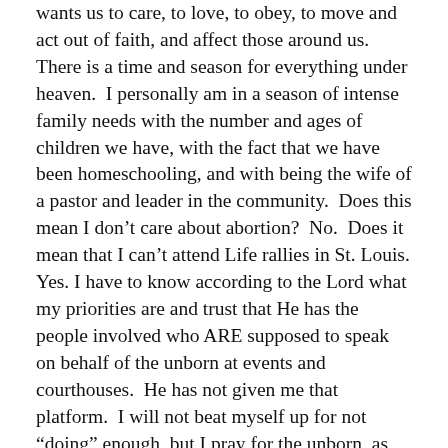wants us to care, to love, to obey, to move and act out of faith, and affect those around us.  There is a time and season for everything under heaven.  I personally am in a season of intense family needs with the number and ages of children we have, with the fact that we have been homeschooling, and with being the wife of a pastor and leader in the community.  Does this mean I don't care about abortion?  No.  Does it mean that I can't attend Life rallies in St. Louis. Yes. I have to know according to the Lord what my priorities are and trust that He has the people involved who ARE supposed to speak on behalf of the unborn at events and  courthouses.  He has not given me that platform.  I will not beat myself up for not “doing” enough, but I pray for the unborn, as well as their mommies and daddies, regularly and am part of a church community that does as well.
I’d like to share a personal experience of how we walked through changes regarding our health, diet, and wellness.  About 10 years ago King James and I started learning much